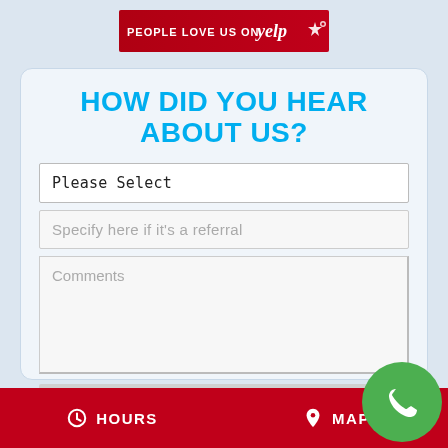[Figure (logo): Yelp banner: 'PEOPLE LOVE US ON yelp' on red background]
HOW DID YOU HEAR ABOUT US?
Please Select
Specify here if it's a referral
Comments
SUBMIT
HOURS   MAP